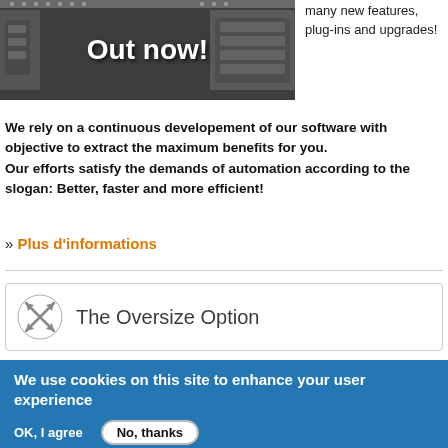[Figure (photo): Hardware component photo with 'Out now!' text overlay on dark background]
many new features, plug-ins and upgrades!
We rely on a continuous developement of our software with objective to extract the maximum benefits for you.
Our efforts satisfy the demands of automation according to the slogan: Better, faster and more efficient!
» Plus d'informations
[Figure (logo): The Oversize Option logo with crossed arrows icon]
We use cookies on this site to enhance your user experience
By clicking any link on this page you are giving your consent for us to set cookies. No, give me more info
OK, I agree
No, thanks